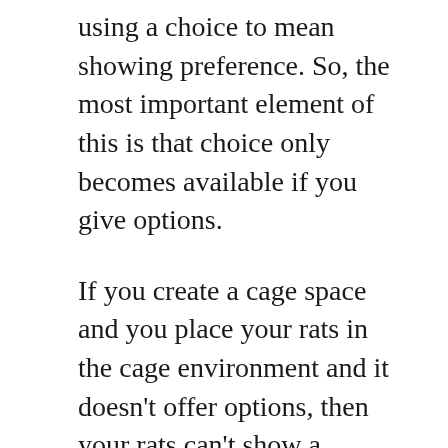using a choice to mean showing preference. So, the most important element of this is that choice only becomes available if you give options.
If you create a cage space and you place your rats in the cage environment and it doesn't offer options, then your rats can't show a preference. Unless a cage is completely bare there is always some choice, but if options are limited that choice might be binary – do or don't do – which can barely be considered choice and certainly doesn't allow for preference.
For instance, if you have a cage and it only has